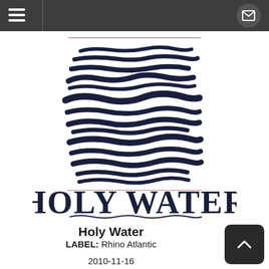[Figure (illustration): Album cover art for 'Holy Water' — abstract wavy dark navy horizontal brushstroke lines stacked vertically resembling water ripples, with 'HOLY WATER' in large bold serif letters at the bottom of the cover image]
Holy Water
LABEL: Rhino Atlantic
2010-11-16